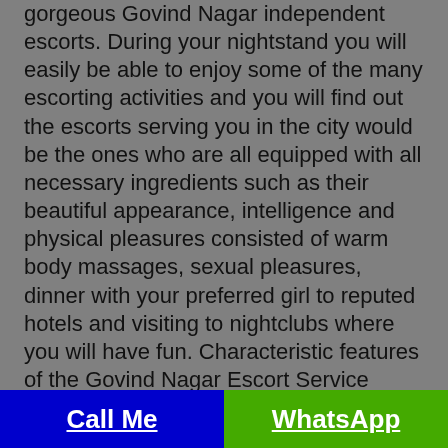gorgeous Govind Nagar independent escorts. During your nightstand you will easily be able to enjoy some of the many escorting activities and you will find out the escorts serving you in the city would be the ones who are all equipped with all necessary ingredients such as their beautiful appearance, intelligence and physical pleasures consisted of warm body massages, sexual pleasures, dinner with your preferred girl to reputed hotels and visiting to nightclubs where you will have fun. Characteristic features of the Govind Nagar Escort Service
Escorts in Govind Nagar: On time delivery: Here you will enjoy the escorting service because the staffs of the agency are very punctual and they understand well the value of time. There is no delay in the service and you will have on time delivery of the service and it is of importance so the staffs take care of this part. It is because people have tight schedule and having lack of leisure period of time at their disposal.
Service quality:There is huge amount of quality found in the service as the Govind Nagar call girls are all equipped with the necessary qualities and competencies. The escorts
Call Me   WhatsApp